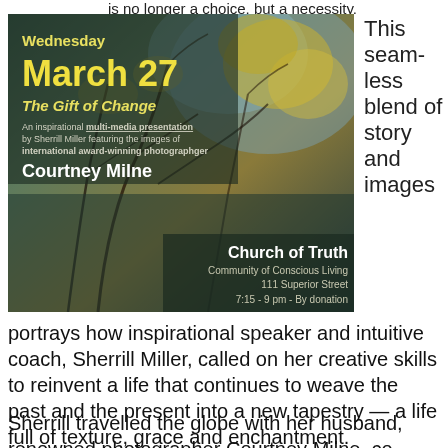is no longer a choice, but a necessity.
[Figure (illustration): Event poster for Wednesday March 27 - The Gift of Change. An inspirational multi-media presentation by Sherrill Miller featuring the images of international award-winning photographer Courtney Milne. Church of Truth, Community of Conscious Living, 111 Superior Street, 7:15 - 9 pm - By donation. Background shows abstract nature/tree imagery in teal, gold and brown tones.]
This seamless blend of story and images
portrays how inspirational speaker and intuitive coach, Sherrill Miller, called on her creative skills to reinvent a life that continues to weave the past and the present into a new tapestry — a life full of texture, grace and enchantment.
Sherrill travelled the globe with her husband, renowned photographer Courtney Milne, co-